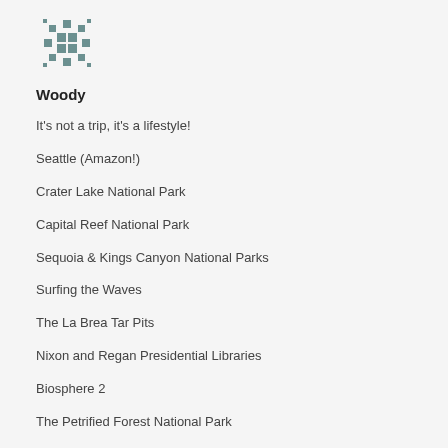[Figure (logo): A decorative snowflake/quilt-pattern logo in muted teal/grey color]
Woody
It's not a trip, it's a lifestyle!
Seattle (Amazon!)
Crater Lake National Park
Capital Reef National Park
Sequoia & Kings Canyon National Parks
Surfing the Waves
The La Brea Tar Pits
Nixon and Regan Presidential Libraries
Biosphere 2
The Petrified Forest National Park